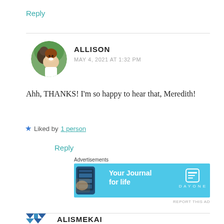Reply
[Figure (photo): Circular avatar photo of a smiling woman with a man behind her, outdoors]
ALLISON
MAY 4, 2021 AT 1:32 PM
Ahh, THANKS! I'm so happy to hear that, Meredith!
★ Liked by 1 person
Reply
Advertisements
[Figure (screenshot): Day One app advertisement banner with light blue background showing phone screenshot and text 'Your Journal for life' with DayOne logo]
REPORT THIS AD
ALISMEKAI